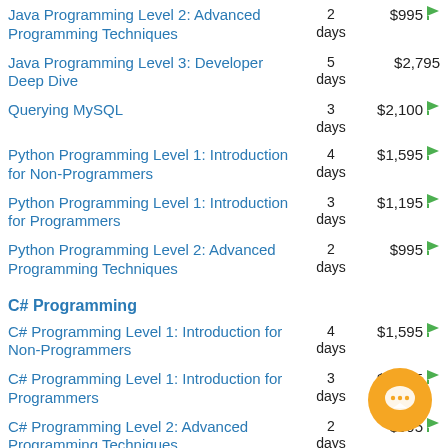Java Programming Level 2: Advanced Programming Techniques — 2 days — $995
Java Programming Level 3: Developer Deep Dive — 5 days — $2,795
Querying MySQL — 3 days — $2,100
Python Programming Level 1: Introduction for Non-Programmers — 4 days — $1,595
Python Programming Level 1: Introduction for Programmers — 3 days — $1,195
Python Programming Level 2: Advanced Programming Techniques — 2 days — $995
C# Programming
C# Programming Level 1: Introduction for Non-Programmers — 4 days — $1,595
C# Programming Level 1: Introduction for Programmers — 3 days — $1,315
C# Programming Level 2: Advanced Programming Techniques — 2 days — $995
VMware